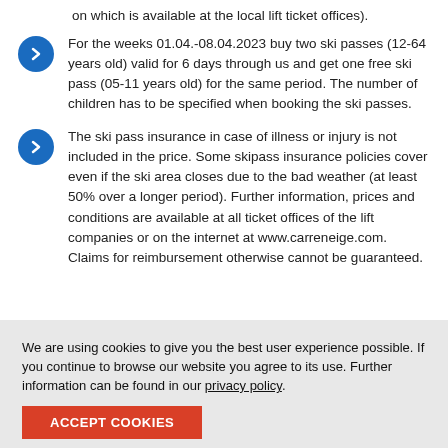on which is available at the local lift ticket offices).
For the weeks 01.04.-08.04.2023 buy two ski passes (12-64 years old) valid for 6 days through us and get one free ski pass (05-11 years old) for the same period. The number of children has to be specified when booking the ski passes.
The ski pass insurance in case of illness or injury is not included in the price. Some skipass insurance policies cover even if the ski area closes due to the bad weather (at least 50% over a longer period). Further information, prices and conditions are available at all ticket offices of the lift companies or on the internet at www.carreneige.com. Claims for reimbursement otherwise cannot be guaranteed.
We are using cookies to give you the best user experience possible. If you continue to browse our website you agree to its use. Further information can be found in our privacy policy.
ACCEPT COOKIES